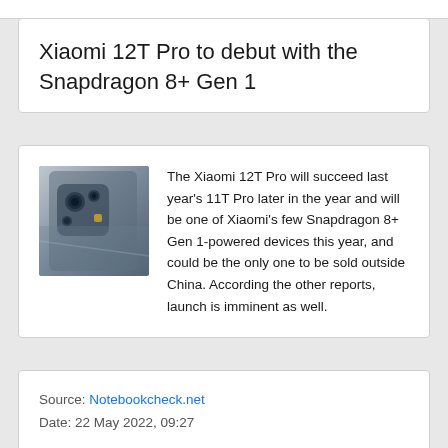Xiaomi 12T Pro to debut with the Snapdragon 8+ Gen 1
[Figure (photo): Photo of the back of a Xiaomi smartphone showing camera module]
The Xiaomi 12T Pro will succeed last year's 11T Pro later in the year and will be one of Xiaomi's few Snapdragon 8+ Gen 1-powered devices this year, and could be the only one to be sold outside China. According the other reports, launch is imminent as well.
Source: Notebookcheck.net
Date: 22 May 2022, 09:27